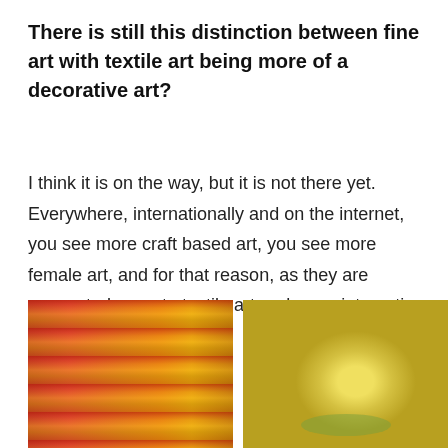There is still this distinction between fine art with textile art being more of a decorative art?
I think it is on the way, but it is not there yet. Everywhere, internationally and on the internet, you see more craft based art, you see more female art, and for that reason, as they are connected more to textile art and more interactive art.
[Figure (photo): Photo of colorful textile art pieces hanging, showing red and yellow/orange fibrous strands]
[Figure (photo): Photo of a bowl of yellow fruits (quinces and bananas) on a dark tray]